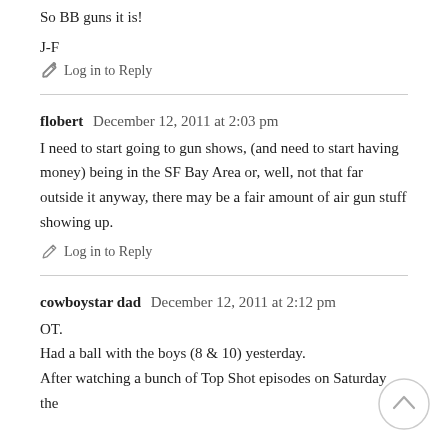So BB guns it is!
J-F
Log in to Reply
flobert   December 12, 2011 at 2:03 pm
I need to start going to gun shows, (and need to start having money) being in the SF Bay Area or, well, not that far outside it anyway, there may be a fair amount of air gun stuff showing up.
Log in to Reply
cowboystar dad   December 12, 2011 at 2:12 pm
OT.
Had a ball with the boys (8 & 10) yesterday.
After watching a bunch of Top Shot episodes on Saturday the